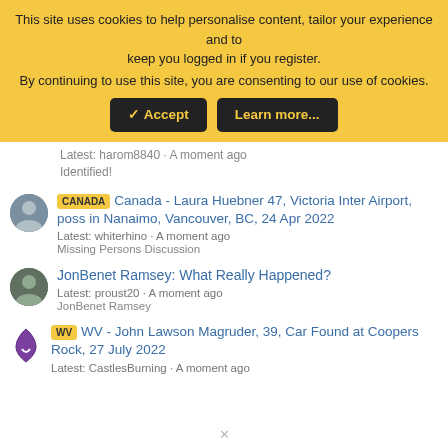This site uses cookies to help personalise content, tailor your experience and to keep you logged in if you register. By continuing to use this site, you are consenting to our use of cookies.
Accept | Learn more...
Latest: harom8840 · A moment ago
Identified!
CANADA Canada - Laura Huebner 47, Victoria Inter Airport, poss in Nanaimo, Vancouver, BC, 24 Apr 2022
Latest: whiterhino · A moment ago
Missing Persons Discussion
JonBenet Ramsey: What Really Happened?
Latest: proust20 · A moment ago
JonBenet Ramsey
WV WV - John Lawson Magruder, 39, Car Found at Coopers Rock, 27 July 2022
Latest: CastlesBurning · A moment ago